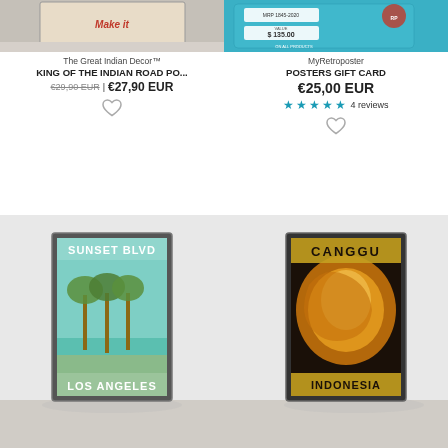[Figure (photo): Top left: Vintage Indian road poster product photo leaning against white wooden wall]
The Great Indian Decor™
KING OF THE INDIAN ROAD PO...
€29,90 EUR | €27,90 EUR
[Figure (other): Heart/wishlist icon]
[Figure (photo): Top right: MyRetroposter gift card product photo - teal colored gift card showing MRP 1845-2020, VALUE $135.00]
MyRetroposter
POSTERS GIFT CARD
€25,00 EUR
★★★★★ 4 reviews
[Figure (other): Heart/wishlist icon]
[Figure (photo): Bottom left: Sunset Blvd Los Angeles vintage travel poster in black frame leaning against white wall, showing palm trees on teal background]
[Figure (photo): Bottom right: Canggu Indonesia vintage travel poster in black frame leaning against white wall, showing surfing wave on dark background with yellow text]